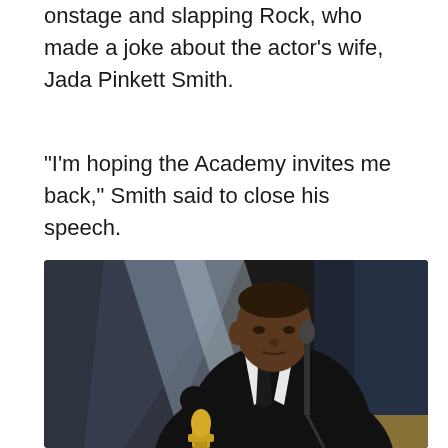onstage and slapping Rock, who made a joke about the actor's wife, Jada Pinkett Smith.
“I’m hoping the Academy invites me back,” Smith said to close his speech.
[Figure (photo): Will Smith in a black tuxedo holding a gold Oscar statuette at a podium microphone, looking downward, at the Academy Awards ceremony]